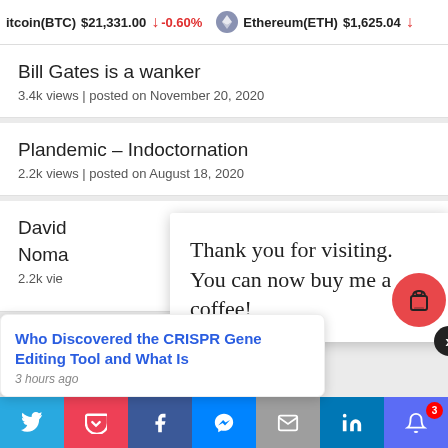itcoin(BTC) $21,331.00 ↓ -0.60% Ethereum(ETH) $1,625.04 ↓
Bill Gates is a wanker
3.4k views | posted on November 20, 2020
Plandemic – Indoctornation
2.2k views | posted on August 18, 2020
David ... 99)
Noma...
2.2k vie...
Thank you for visiting. You can now buy me a coffee!
Who Discovered the CRISPR Gene Editing Tool and What Is
3 hours ago
share bar: twitter, pocket, facebook, messenger, email, linkedin, bell (3)